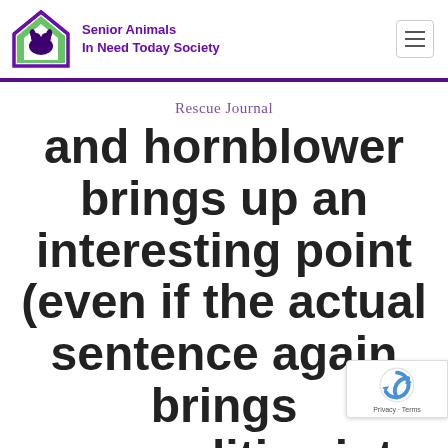Senior Animals In Need Today Society
Rescue Journal
and hornblower brings up an interesting point (even if the actual sentence again brings personalities into th